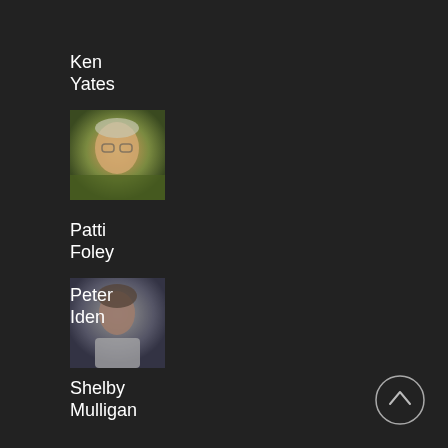Ken Yates
[Figure (photo): Small thumbnail photo of Ken Yates, an elderly person outdoors with greenery in background]
Patti Foley
[Figure (photo): Small thumbnail photo of Patti Foley, a person wearing a light-colored shirt]
Peter Iden
Shelby Mulligan